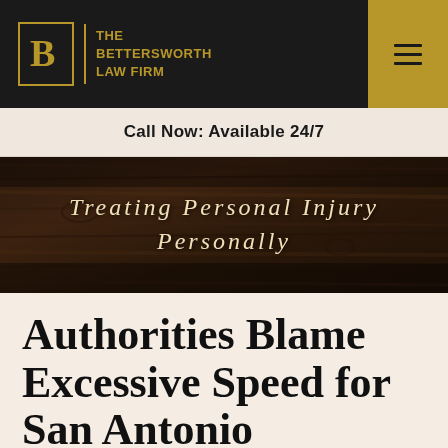THE BETTERSWORTH LAW FIRM
Call Now: Available 24/7
[Figure (photo): Dark wood plank background with italic serif text overlay reading 'Treating Personal Injury Personally']
Authorities Blame Excessive Speed for San Antonio